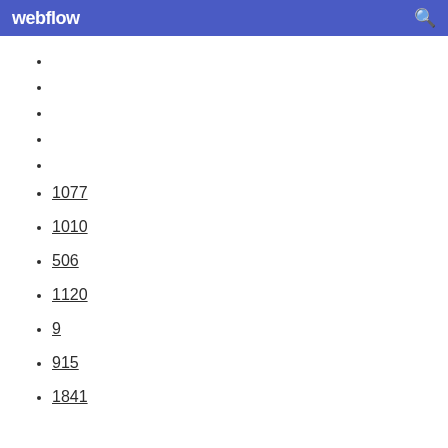webflow
1077
1010
506
1120
9
915
1841